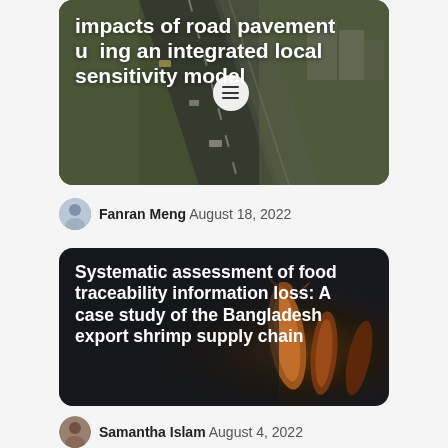[Figure (photo): Aerial view of road/highway with text overlay showing partial article title 'impacts of road pavement using an integrated local sensitivity model' in white bold text, with a circular menu icon overlay]
Fanran Meng  August 18, 2022
[Figure (photo): Dark background image (appears to show food/shrimp items) with white bold text overlay: 'Systematic assessment of food traceability information loss: A case study of the Bangladesh export shrimp supply chain']
Samantha Islam  August 4, 2022